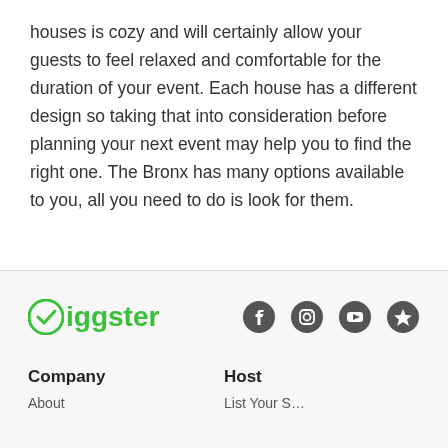houses is cozy and will certainly allow your guests to feel relaxed and comfortable for the duration of your event. Each house has a different design so taking that into consideration before planning your next event may help you to find the right one. The Bronx has many options available to you, all you need to do is look for them.
[Figure (logo): Giggster logo in green with a checkmark-G icon and social media icons (Facebook, Instagram, YouTube, Yelp/star)]
Company
Host
About
List Your S...